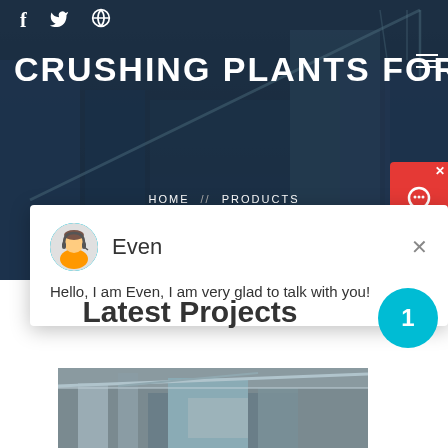[Figure (screenshot): Hero banner with dark blue overlay on construction/building background with crane]
f  (twitter)  (dribbble)
CRUSHING PLANTS FOR SALE 2...
HOME // PRODUCTS // CRUSHING PLANTS FOR SALE 200TPH
[Figure (screenshot): Chat popup with avatar of Even (headset support agent). Message: Hello, I am Even, I am very glad to talk with you!]
Latest Projects
[Figure (photo): Industrial crushing plant / mining equipment interior photo]